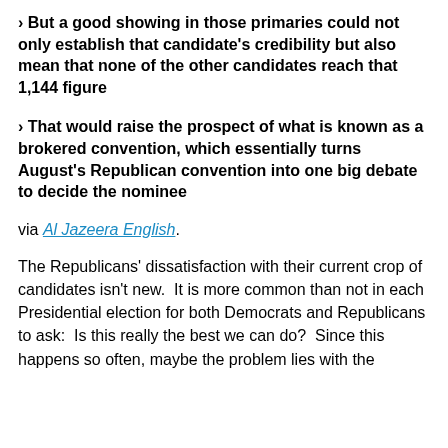› But a good showing in those primaries could not only establish that candidate's credibility but also mean that none of the other candidates reach that 1,144 figure
› That would raise the prospect of what is known as a brokered convention, which essentially turns August's Republican convention into one big debate to decide the nominee
via Al Jazeera English.
The Republicans' dissatisfaction with their current crop of candidates isn't new.  It is more common than not in each Presidential election for both Democrats and Republicans to ask:  Is this really the best we can do?  Since this happens so often, maybe the problem lies with the